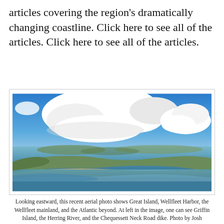articles covering the region's dramatically changing coastline. Click here to see all of the articles. Click here to see all of the articles.
[Figure (photo): Aerial photo looking eastward showing Great Island, Wellfleet Harbor, the Wellfleet mainland, and the Atlantic beyond. At left in the image, one can see Griffin Island, the Herring River, and the Chequessett Neck Road dike. Blue sky with large white cumulus clouds above, green peninsulas and sandy beach visible below.]
Looking eastward, this recent aerial photo shows Great Island, Wellfleet Harbor, the Wellfleet mainland, and the Atlantic beyond. At left in the image, one can see Griffin Island, the Herring River, and the Chequessett Neck Road dike. Photo by Josh Shortsleeve.